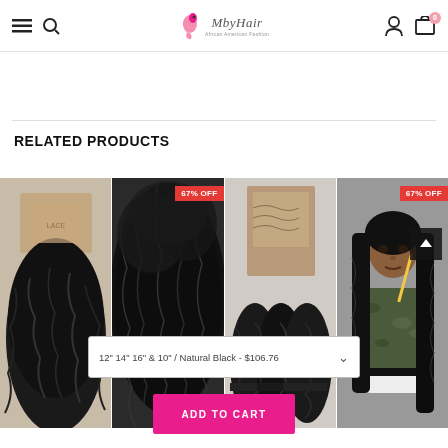MbyHair - African American Fashion
RELATED PRODUCTS
[Figure (photo): Four related hair product images side by side: kinky curly lace closure, afro kinky hair bundle, body wave closure with bundles, woman with long straight hair - two items showing 67% OFF badge]
12" 14" 16" & 10" / Natural Black - $106.76
ADD TO CART